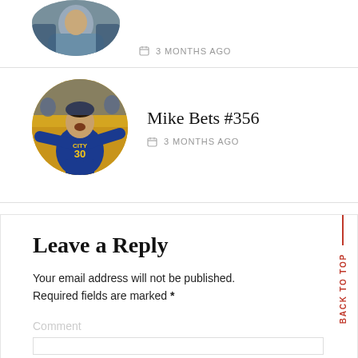[Figure (photo): Partially visible circular avatar photo of person at top of page]
3 MONTHS AGO
[Figure (photo): Circular avatar photo of basketball player in Golden State Warriors jersey #30 (Stephen Curry) celebrating]
Mike Bets #356
3 MONTHS AGO
Leave a Reply
Your email address will not be published. Required fields are marked *
Comment